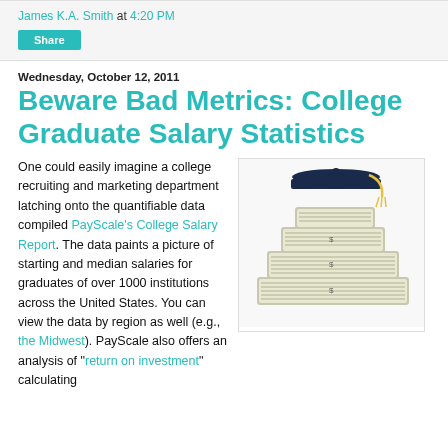James K.A. Smith at 4:20 PM
Share
Wednesday, October 12, 2011
Beware Bad Metrics: College Graduate Salary Statistics
One could easily imagine a college recruiting and marketing department latching onto the quantifiable data compiled PayScale's College Salary Report. The data paints a picture of starting and median salaries for graduates of over 1000 institutions across the United States. You can view the data by region as well (e.g., the Midwest). PayScale also offers an analysis of "return on investment" calculating
[Figure (photo): A graduation cap sitting on top of stacked piles of US dollar bills, arranged like steps.]